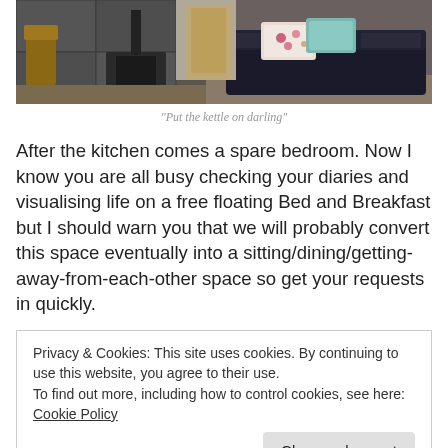[Figure (photo): Interior room photo showing a wood-burning stove on the left side with tiled wall, wooden furniture, and a dark leather sofa with a floral cushion on the right.]
“Put the kettle on darling”
After the kitchen comes a spare bedroom. Now I know you are all busy checking your diaries and visualising life on a free floating Bed and Breakfast but I should warn you that we will probably convert this space eventually into a sitting/dining/getting-away-from-each-other space so get your requests in quickly.
Privacy & Cookies: This site uses cookies. By continuing to use this website, you agree to their use.
To find out more, including how to control cookies, see here: Cookie Policy
being open to the main captain and lady captain’s bedroom. (You